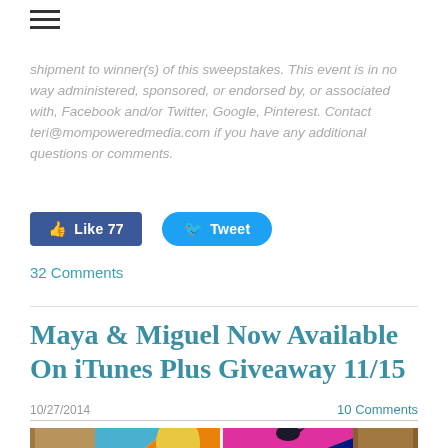≡
shipment to winner(s) of this sweepstakes. This event is in no way administered, sponsored, or endorsed by, or associated with, Facebook and/or Twitter, Google, Pinterest. Contact teri@mompoweredmedia.com if you have any additional questions or comments.
[Figure (screenshot): Social media buttons: Facebook Like (77) and Tweet buttons]
32 Comments
Maya & Miguel Now Available On iTunes Plus Giveaway 11/15
10/27/2014   10 Comments
[Figure (photo): Photo of colorful book covers with pineapple and bird illustrations beside baked food items on a wooden surface]